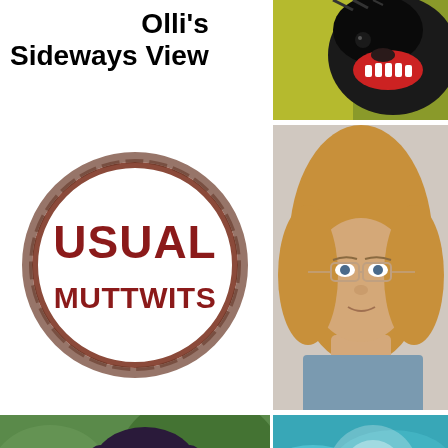Olli's Sideways View
[Figure (logo): Circular logo with brown ring, text USUAL MUTTWITS in dark red bold font]
[Figure (photo): Close-up of a black dog with mouth open, showing teeth, against green background]
[Figure (photo): Portrait photo of an older woman with long blonde/auburn hair and glasses]
[Figure (photo): Photo of a smiling woman with dark hair wearing a pink top, outdoors with greenery]
[Figure (photo): Artistic photo of a bright full moon through teal/turquoise cloudy sky]